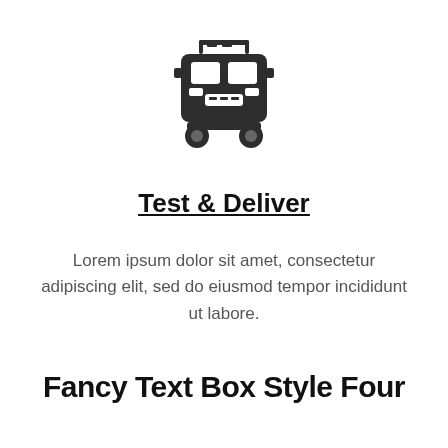[Figure (illustration): Dark icon of a front-facing delivery/bus truck with luggage rack on top]
Test & Deliver
Lorem ipsum dolor sit amet, consectetur adipiscing elit, sed do eiusmod tempor incididunt ut labore.
Fancy Text Box Style Four